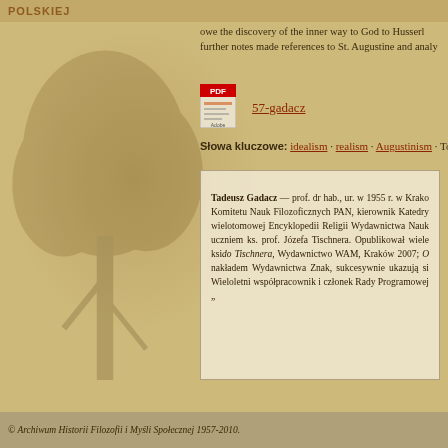POLSKIEJ
owe the discovery of the inner way to God to Husserl further notes made references to St. Augustine and analy
[Figure (other): PDF icon with Adobe Acrobat logo]
57-gadacz
Słowa kluczowe: idealism · realism · Augustinism · Tor
Tadeusz Gadacz — prof. dr hab., ur. w 1955 r. w Krako Komitetu Nauk Filozoficznych PAN, kierownik Katedry wielotomowej Encyklopedii Religii Wydawnictwa Nauk uczniem ks. prof. Józefa Tischnera. Opublikował wiele ksi do Tischnera, Wydawnictwo WAM, Kraków 2007; O nakładem Wydawnictwa Znak, sukcesywnie ukazują si Wieloletni współpracownik i członek Rady Programowej „
« Wstecz
© Archiwum Historii Filozofii i Myśli Społecznej 1957-2010.